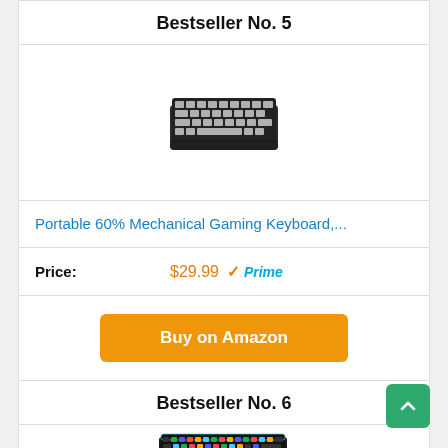Bestseller No. 5
[Figure (photo): 60% mechanical gaming keyboard, compact layout with gray and black keycaps]
Portable 60% Mechanical Gaming Keyboard,...
Price: $29.99 Prime
Buy on Amazon
Bestseller No. 6
[Figure (photo): Full-size gaming keyboard with RGB backlight]